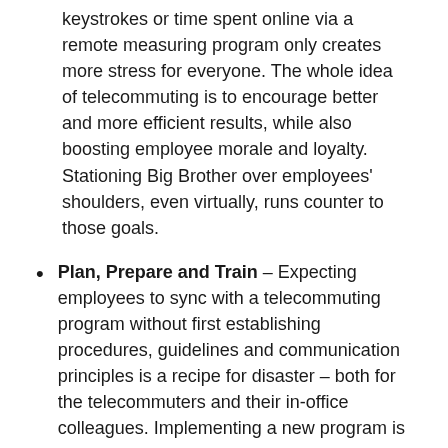keystrokes or time spent online via a remote measuring program only creates more stress for everyone. The whole idea of telecommuting is to encourage better and more efficient results, while also boosting employee morale and loyalty. Stationing Big Brother over employees' shoulders, even virtually, runs counter to those goals.
Plan, Prepare and Train – Expecting employees to sync with a telecommuting program without first establishing procedures, guidelines and communication principles is a recipe for disaster – both for the telecommuters and their in-office colleagues. Implementing a new program is stressful enough; implementing it prematurely is simply counter-productive.
Consider Both Sides – It is hardly fair to give a loose set of rules to telecommuters while...